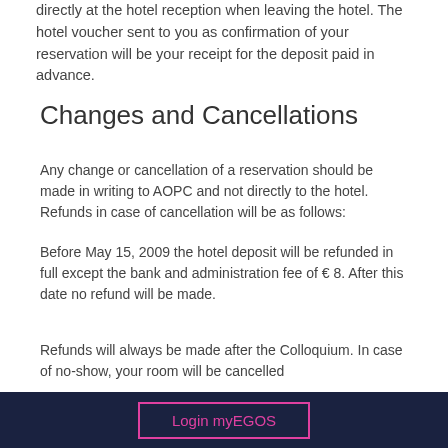directly at the hotel reception when leaving the hotel. The hotel voucher sent to you as confirmation of your reservation will be your receipt for the deposit paid in advance.
Changes and Cancellations
Any change or cancellation of a reservation should be made in writing to AOPC and not directly to the hotel. Refunds in case of cancellation will be as follows:
Before May 15, 2009 the hotel deposit will be refunded in full except the bank and administration fee of € 8. After this date no refund will be made.
Refunds will always be made after the Colloquium. In case of no-show, your room will be cancelled
Login myEGOS